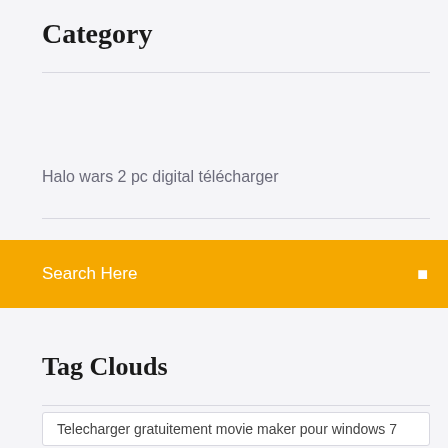Category
Halo wars 2 pc digital télécharger
Search Here
Tag Clouds
Telecharger gratuitement movie maker pour windows 7